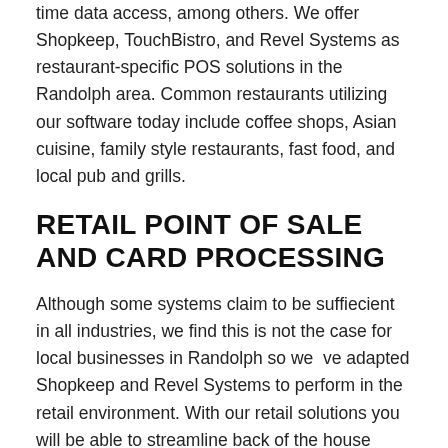time data access, among others. We offer Shopkeep, TouchBistro, and Revel Systems as restaurant-specific POS solutions in the Randolph area. Common restaurants utilizing our software today include coffee shops, Asian cuisine, family style restaurants, fast food, and local pub and grills.
RETAIL POINT OF SALE AND CARD PROCESSING
Although some systems claim to be suffiecient in all industries, we find this is not the case for local businesses in Randolph so we  ve adapted Shopkeep and Revel Systems to perform in the retail environment. With our retail solutions you will be able to streamline back of the house operations, increase customer loyalty, conduct business on-the-go, eliminate payment reconciliation, and enhance the